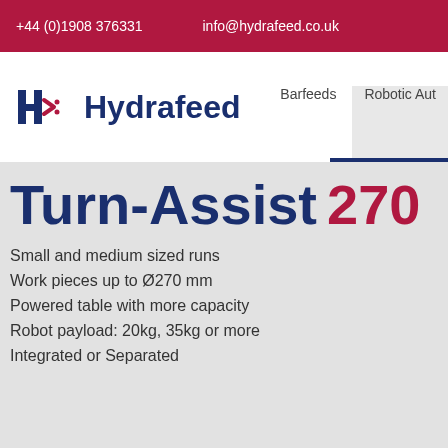+44 (0)1908 376331   info@hydrafeed.co.uk
[Figure (logo): Hydrafeed company logo with stylized H and red arrow mark]
Barfeeds   Robotic Aut
Turn-Assist 270
Small and medium sized runs
Work pieces up to Ø270 mm
Powered table with more capacity
Robot payload: 20kg, 35kg or more
Integrated or Separated